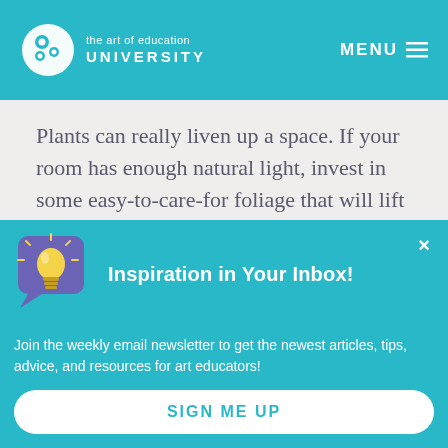the art of education UNIVERSITY | MENU
Plants can really liven up a space. If your room has enough natural light, invest in some easy-to-care-for foliage that will lift your spirits and improve your air quality. Plants also make great additions to still
[Figure (illustration): Purple speech bubble icon with a glowing lightbulb inside, representing inspiration]
Inspiration in Your Inbox!
Join the weekly email newsletter to get the newest articles, tips, advice, and resources for art educators!
SIGN ME UP